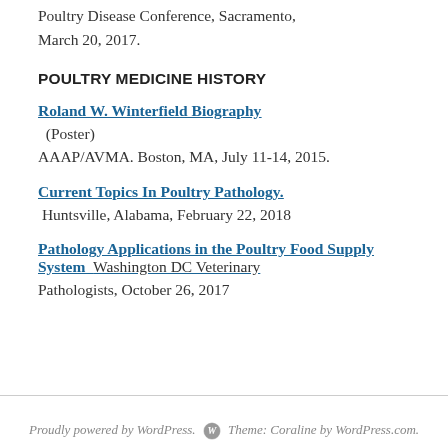Poultry Disease Conference, Sacramento, March 20, 2017.
POULTRY MEDICINE HISTORY
Roland W. Winterfield Biography (Poster) AAAP/AVMA. Boston, MA, July 11-14, 2015.
Current Topics In Poultry Pathology. Huntsville, Alabama, February 22, 2018
Pathology Applications in the Poultry Food Supply System Washington DC Veterinary Pathologists, October 26, 2017
Proudly powered by WordPress. Theme: Coraline by WordPress.com.